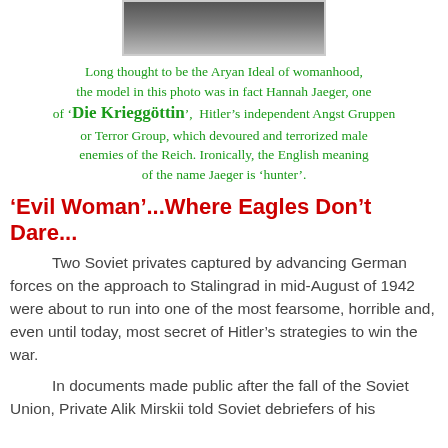[Figure (photo): Partial black and white photograph, cropped showing only the lower portion of an image]
Long thought to be the Aryan Ideal of womanhood, the model in this photo was in fact Hannah Jaeger, one of 'Die Krieggöttin', Hitler's independent Angst Gruppen or Terror Group, which devoured and terrorized male enemies of the Reich. Ironically, the English meaning of the name Jaeger is 'hunter'.
'Evil Woman'...Where Eagles Don't Dare...
Two Soviet privates captured by advancing German forces on the approach to Stalingrad in mid-August of 1942 were about to run into one of the most fearsome, horrible and, even until today, most secret of Hitler's strategies to win the war.
In documents made public after the fall of the Soviet Union, Private Alik Mirskii told Soviet debriefers of his